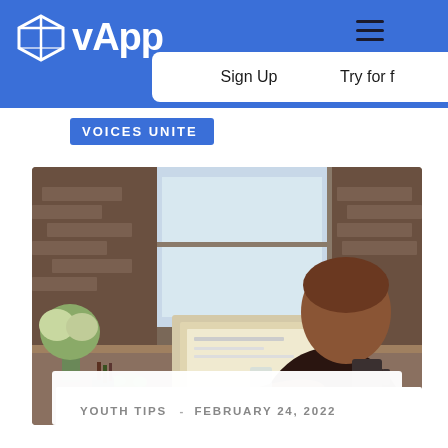vApp — Sign Up | Try for free
VOICES UNITE
[Figure (photo): Young man sitting at a café/office desk working on a laptop; brick walls, plants, a glass mug on the table, looking at the screen from the side/back angle.]
YOUTH TIPS  -  FEBRUARY 24, 2022